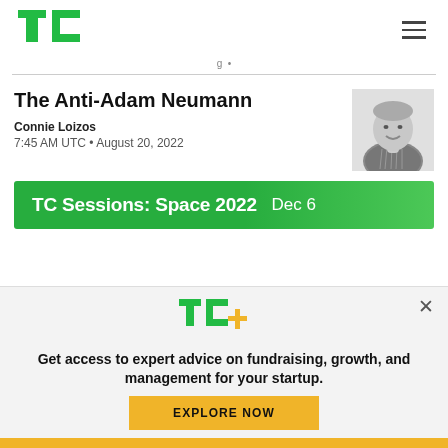TechCrunch logo and navigation
g •
The Anti-Adam Neumann
Connie Loizos
7:45 AM UTC • August 20, 2022
[Figure (photo): Black and white headshot photo of a smiling man in a plaid shirt]
TC Sessions: Space 2022  Dec 6
[Figure (logo): TC+ logo in green and yellow]
Get access to expert advice on fundraising, growth, and management for your startup.
EXPLORE NOW